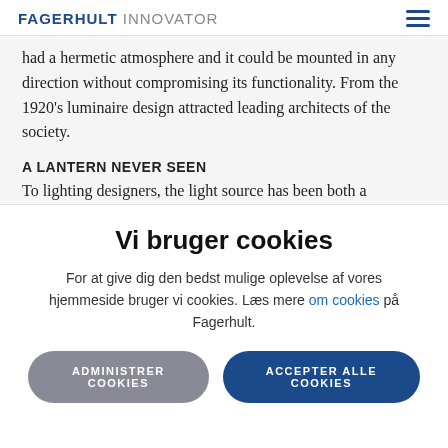FAGERHULT INNOVATOR
had a hermetic atmosphere and it could be mounted in any direction without compromising its functionality. From the 1920's luminaire design attracted leading architects of the society.
A LANTERN NEVER SEEN
To lighting designers, the light source has been both a
Vi bruger cookies
For at give dig den bedst mulige oplevelse af vores hjemmeside bruger vi cookies. Læs mere om cookies på Fagerhult.
ADMINISTRER COOKIES
ACCEPTER ALLE COOKIES